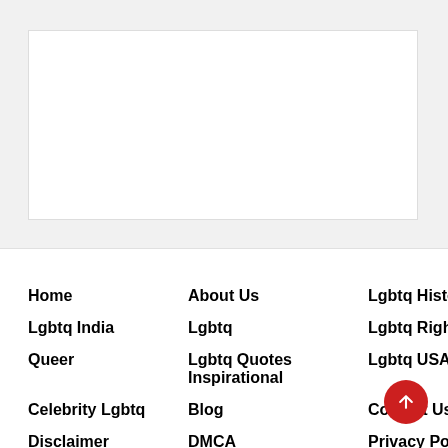[Figure (other): White advertisement/content box with light border]
Home
About Us
Lgbtq History
Lgbtq India
Lgbtq
Lgbtq Rights
Queer
Lgbtq Quotes Inspirational
Lgbtq USA
Celebrity Lgbtq
Blog
Contact Us
Disclaimer
DMCA
Privacy Policy